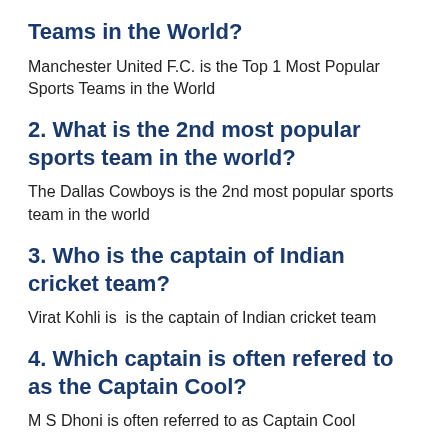Teams in the World?
Manchester United F.C. is the Top 1 Most Popular Sports Teams in the World
2. What is the 2nd most popular sports team in the world?
The Dallas Cowboys is the 2nd most popular sports team in the world
3. Who is the captain of Indian cricket team?
Virat Kohli is  is the captain of Indian cricket team
4. Which captain is often refered to as the Captain Cool?
M S Dhoni is often referred to as Captain Cool